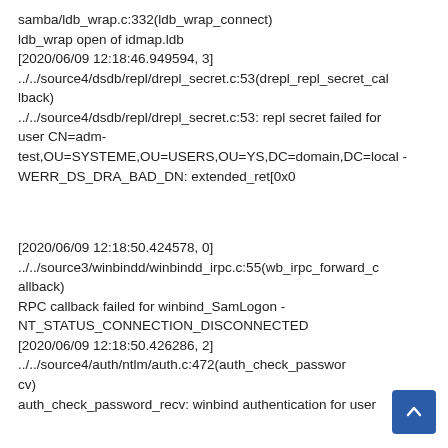samba/ldb_wrap.c:332(ldb_wrap_connect)
ldb_wrap open of idmap.ldb
[2020/06/09 12:18:46.949594, 3]
../../source4/dsdb/repl/drepl_secret.c:53(drepl_repl_secret_callback)
../../source4/dsdb/repl/drepl_secret.c:53: repl secret failed for user CN=adm-test,OU=SYSTEME,OU=USERS,OU=YS,DC=domain,DC=local - WERR_DS_DRA_BAD_DN: extended_ret[0x0
[2020/06/09 12:18:50.424578, 0]
../../source3/winbindd/winbindd_irpc.c:55(wb_irpc_forward_callback)
RPC callback failed for winbind_SamLogon - NT_STATUS_CONNECTION_DISCONNECTED
[2020/06/09 12:18:50.426286, 2]
../../source4/auth/ntlm/auth.c:472(auth_check_password_recv)
auth_check_password_recv: winbind authentication for user